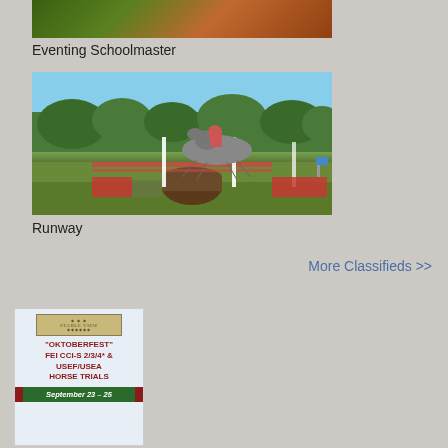[Figure (photo): Partial photo of a horse, partially cropped at top of page showing an eventing schoolmaster horse in an outdoor setting with trees]
Eventing Schoolmaster
[Figure (photo): Photo of a horse and rider jumping a cross-country obstacle (barrels) at an eventing competition, with trees in background and white poles]
Runway
More Classifieds >>
[Figure (infographic): Advertisement for Stable View 'Oktoberfest' FEI CCI-S 2/3/4* & USEF/USEA Horse Trials, September 23-25, with Stable View logo at top, text in dark red, and date on green banner]